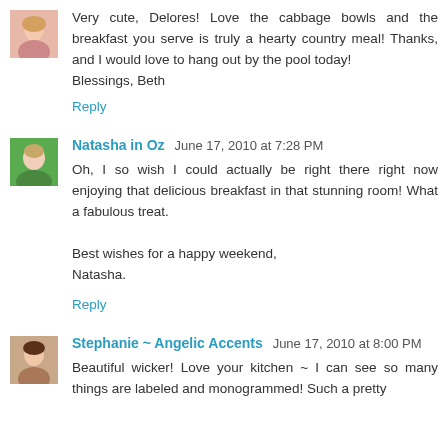[Figure (photo): Avatar photo of a woman with blonde hair]
Very cute, Delores! Love the cabbage bowls and the breakfast you serve is truly a hearty country meal! Thanks, and I would love to hang out by the pool today!
Blessings, Beth
Reply
[Figure (photo): Avatar photo of a woman in green shirt]
Natasha in Oz  June 17, 2010 at 7:28 PM
Oh, I so wish I could actually be right there right now enjoying that delicious breakfast in that stunning room! What a fabulous treat.

Best wishes for a happy weekend,
Natasha.
Reply
[Figure (photo): Avatar photo of a woman with dark hair]
Stephanie ~ Angelic Accents  June 17, 2010 at 8:00 PM
Beautiful wicker! Love your kitchen ~ I can see so many things are labeled and monogrammed! Such a pretty